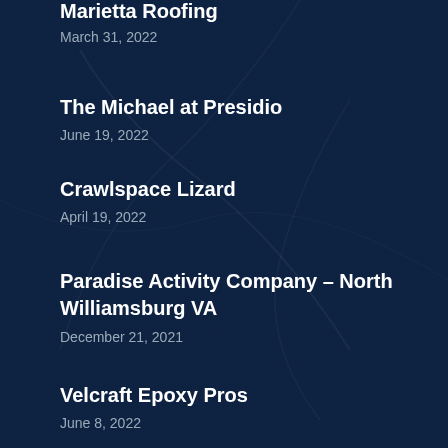Marietta Roofing
March 31, 2022
The Michael at Presidio
June 19, 2022
Crawlspace Lizard
April 19, 2022
Paradise Activity Company – North Williamsburg VA
December 21, 2021
Velcraft Epoxy Pros
June 8, 2022